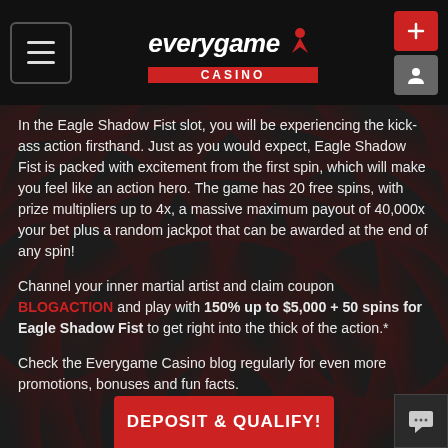everygame CASINO
In the Eagle Shadow Fist slot, you will be experiencing the kick-ass action firsthand. Just as you would expect, Eagle Shadow Fist is packed with excitement from the first spin, which will make you feel like an action hero. The game has 20 free spins, with prize multipliers up to 4x, a massive maximum payout of 40,000x your bet plus a random jackpot that can be awarded at the end of any spin!
Channel your inner martial artist and claim coupon BLOGACTION and play with 150% up to $5,000 + 50 spins for Eagle Shadow Fist to get right into the thick of the action.*
Check the Everygame Casino blog regularly for even more promotions, bonuses and fun facts.
DEPOSIT & QUALIFY!